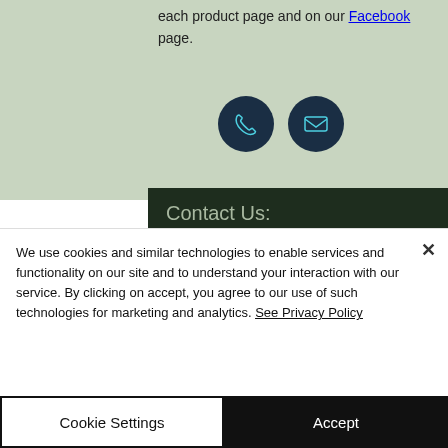each product page and on our Facebook page.
[Figure (illustration): Two circular dark navy icon buttons: a phone/call icon and an email/envelope icon, on a sage green background.]
Contact Us:
Tel: 07989 223634
Email:
We use cookies and similar technologies to enable services and functionality on our site and to understand your interaction with our service. By clicking on accept, you agree to our use of such technologies for marketing and analytics. See Privacy Policy
Cookie Settings
Accept